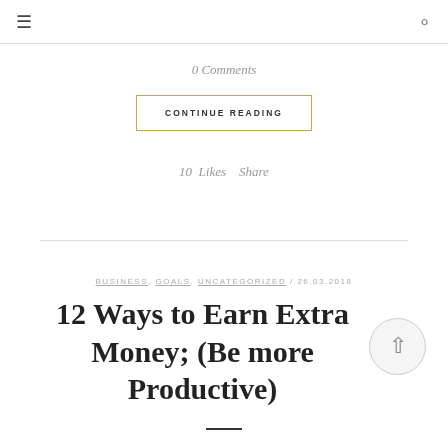≡  O
0 Comments
CONTINUE READING
10  Likes    Share
BUSINESS, GOALS, UNCATEGORIZED / 26.03.2018
12 Ways to Earn Extra Money; (Be more Productive)